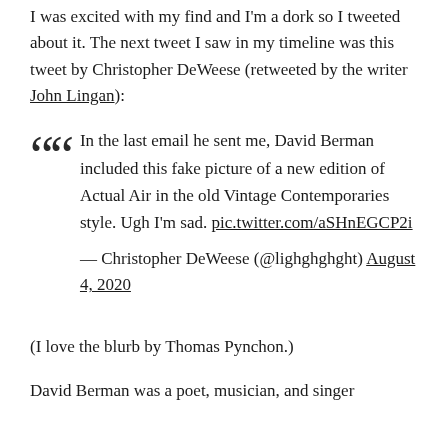I was excited with my find and I'm a dork so I tweeted about it. The next tweet I saw in my timeline was this tweet by Christopher DeWeese (retweeted by the writer John Lingan):
In the last email he sent me, David Berman included this fake picture of a new edition of Actual Air in the old Vintage Contemporaries style. Ugh I'm sad. pic.twitter.com/aSHnEGCP2i
— Christopher DeWeese (@lighghghght) August 4, 2020
(I love the blurb by Thomas Pynchon.)
David Berman was a poet, musician, and singer